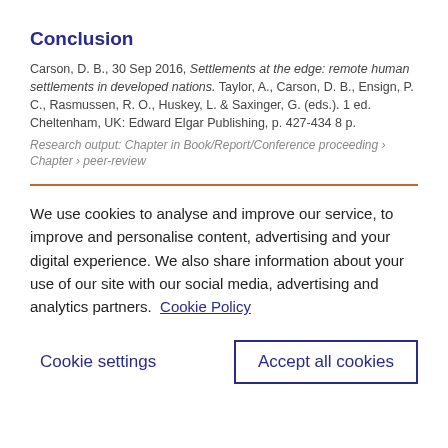Conclusion
Carson, D. B., 30 Sep 2016, Settlements at the edge: remote human settlements in developed nations. Taylor, A., Carson, D. B., Ensign, P. C., Rasmussen, R. O., Huskey, L. & Saxinger, G. (eds.). 1 ed. Cheltenham, UK: Edward Elgar Publishing, p. 427-434 8 p.
Research output: Chapter in Book/Report/Conference proceeding › Chapter › peer-review
We use cookies to analyse and improve our service, to improve and personalise content, advertising and your digital experience. We also share information about your use of our site with our social media, advertising and analytics partners.  Cookie Policy
Cookie settings
Accept all cookies